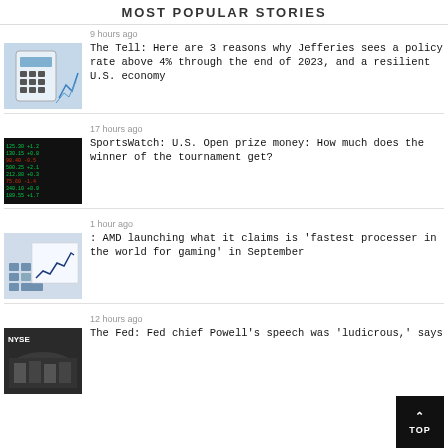MOST POPULAR STORIES
9 hours ago
[Figure (photo): Calculator with financial charts]
The Tell: Here are 3 reasons why Jefferies sees a policy rate above 4% through the end of 2023, and a resilient U.S. economy
17 hours ago
[Figure (photo): Stock market ticker display with green numbers]
SportsWatch: U.S. Open prize money: How much does the winner of the tournament get?
1 hour ago
[Figure (photo): Calculator with line graph chart on paper]
: AMD launching what it claims is 'fastest processer in the world for gaming' in September
12 hours ago
[Figure (photo): NYSE trading floor aerial view]
The Fed: Fed chief Powell's speech was 'ludicrous,' says Reuters, they say it is a...